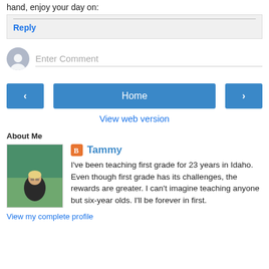hand, enjoy your day on:
Reply
Enter Comment
‹
Home
›
View web version
About Me
Tammy
I've been teaching first grade for 23 years in Idaho. Even though first grade has its challenges, the rewards are greater. I can't imagine teaching anyone but six-year olds. I'll be forever in first.
View my complete profile